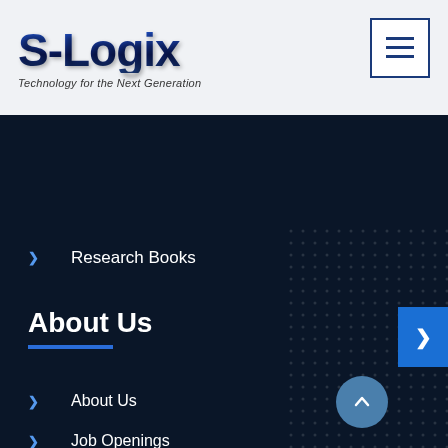[Figure (logo): S-Logix logo with tagline 'Technology for the Next Generation']
[Figure (other): Hamburger menu button with three horizontal lines in a square border]
Research Books
About Us
About Us
Job Openings
Resumes: jobs@slogix.in
S-Logix image Gallery
Post Your Suggestions / Feedbacks